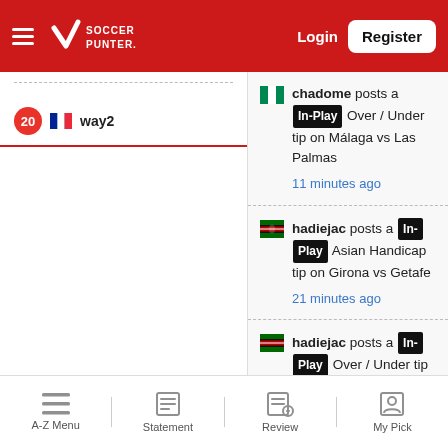[Figure (screenshot): Soccer Punter website header with hamburger menu, logo, Login button, and Register button on red background]
20 way2
chadome posts a In-Play Over / Under tip on Málaga vs Las Palmas
11 minutes ago
hadiejac posts a In-Play Asian Handicap tip on Girona vs Getafe
21 minutes ago
hadiejac posts a In-Play Over / Under tip
A-Z Menu — Statement — Review — My Pick